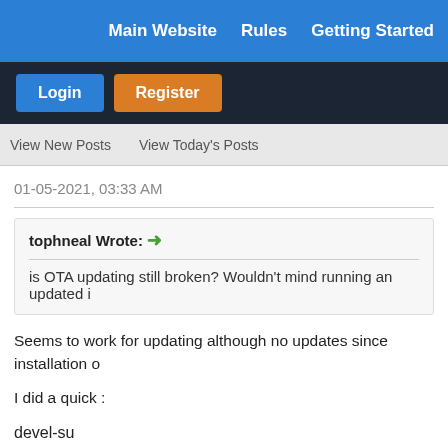Main Website   Rules   Getting Started
Login   Register
View New Posts   View Today's Posts
01-05-2021, 03:33 AM
tophneal Wrote: → is OTA updating still broken? Wouldn't mind running an updated i
Seems to work for updating although no updates since installation o
I did a quick :
devel-su
zypper ref
zypper up
With the browser not working and reliance on Webcat - accessing e screen needs amending to be a quiet boot splash, other than that